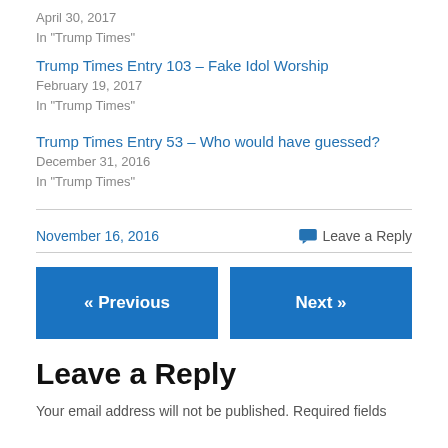April 30, 2017
In "Trump Times"
Trump Times Entry 103 – Fake Idol Worship
February 19, 2017
In "Trump Times"
Trump Times Entry 53 – Who would have guessed?
December 31, 2016
In "Trump Times"
November 16, 2016
Leave a Reply
« Previous
Next »
Leave a Reply
Your email address will not be published. Required fields